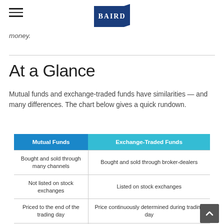BAIRD
money.
At a Glance
Mutual funds and exchange-traded funds have similarities — and many differences. The chart below gives a quick rundown.
| Mutual Funds | Exchange-Traded Funds |
| --- | --- |
| Bought and sold through many channels | Bought and sold through broker-dealers |
| Not listed on stock exchanges | Listed on stock exchanges |
| Priced to the end of the trading day | Price continuously determined during trading day |
| Capital gains within the funds distributed to shareholders | Capital gains within the ETF reinvested; may distribute a capital gain if the make-up of the underlying assets is adjusted |